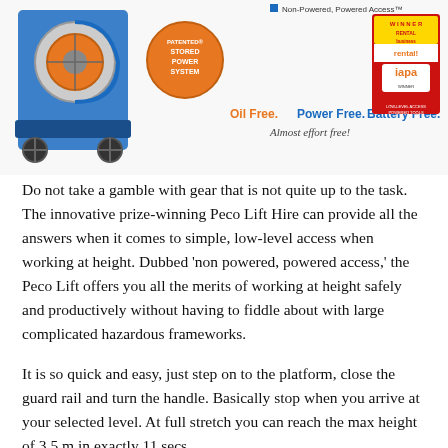[Figure (photo): Advertisement image showing the Peco Lift machine (a stored power lift device on wheels) with 'Patented Stored Power System' circular label. Top-right corner shows a 'Winner - Rental Business / IAPA Winner' award badge. Text reads 'Oil Free. Power Free. Battery Free. Almost effort free!' with tagline overlaid.]
Do not take a gamble with gear that is not quite up to the task. The innovative prize-winning Peco Lift Hire can provide all the answers when it comes to simple, low-level access when working at height. Dubbed ‘non powered, powered access,’ the Peco Lift offers you all the merits of working at height safely and productively without having to fiddle about with large complicated hazardous frameworks.
It is so quick and easy, just step on to the platform, close the guard rail and turn the handle. Basically stop when you arrive at your selected level. At full stretch you can reach the max height of 3.5 m in exactly 11 secs.